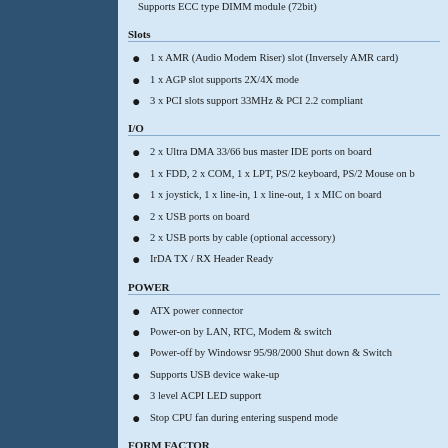Supports ECC type DIMM module (72bit)
Slots
1 x AMR (Audio Modem Riser) slot (Inversely AMR card)
1 x AGP slot supports 2X/4X mode
3 x PCI slots support 33MHz & PCI 2.2 compliant
I/O
2 x Ultra DMA 33/66 bus master IDE ports on board
1 x FDD, 2 x COM, 1 x LPT, PS/2 keyboard, PS/2 Mouse on b
1 x joystick, 1 x line-in, 1 x line-out, 1 x MIC on board
2 x USB ports on board
2 x USB ports by cable (optional accessory)
IrDA TX / RX Header Ready
POWER
ATX power connector
Power-on by LAN, RTC, Modem & switch
Power-off by Windowsr 95/98/2000 Shut down & Switch
Supports USB device wake-up
3 level ACPI LED support
Stop CPU fan during entering suspend mode
FORM FACTOR
Micro ATX , 4 layer PCB (24.7*22.0cm)